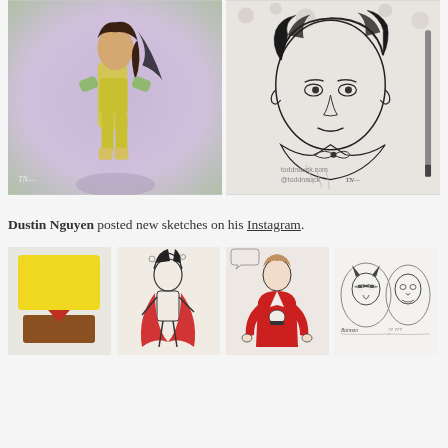[Figure (illustration): Two-panel image grid. Left panel: colored comic-book style illustration of a female superhero character in yellow and green costume with dark hair, flying or leaping, with a signature at bottom left. Right panel: Black and white ink sketch portrait of a young man with curly hair wearing a suit and bow tie, with 'toddnauck.com @toddnauck' watermark text and a signature.]
Dustin Nguyen posted new sketches on his Instagram.
[Figure (illustration): Four small sketch/illustration thumbnails in a row. First: abstract yellow and brown shapes suggesting a character. Second: pencil/ink sketch of a figure with red cape and spiky hair. Third: ink sketch of a figure in red jacket with skull design. Fourth: pencil sketch of two superhero face busts (Batman-like) in oval frames with handwritten labels.]